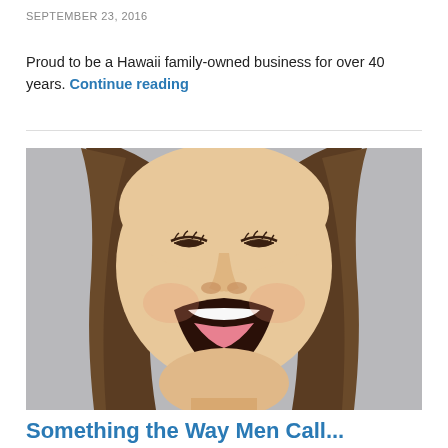SEPTEMBER 23, 2016
Proud to be a Hawaii family-owned business for over 40 years. Continue reading
[Figure (photo): Close-up photo of a woman with long brown hair, eyes closed, mouth wide open as if laughing or yelling, against a grey background]
Something the Way Men Call...